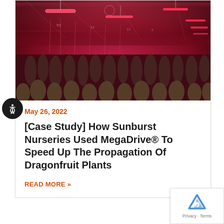[Figure (photo): Indoor greenhouse with rows of dragonfruit cactus plants under red/pink grow lights hanging from the ceiling. The room glows deep red-pink.]
May 26, 2022
[Case Study] How Sunburst Nurseries Used MegaDrive® To Speed Up The Propagation Of Dragonfruit Plants
READ MORE »